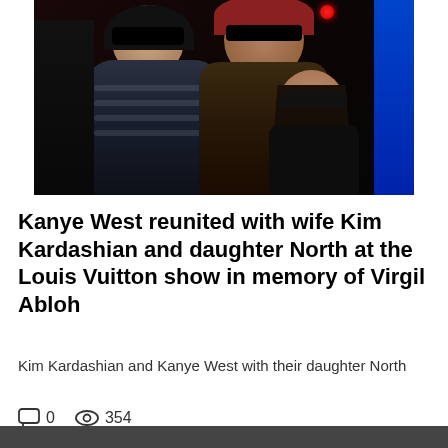[Figure (photo): Photo of Kim Kardashian and Kanye West wearing black outfits and sunglasses, with their daughter North who has braided hair and sunglasses, at a nighttime event with red lights in background]
Kanye West reunited with wife Kim Kardashian and daughter North at the Louis Vuitton show in memory of Virgil Abloh
Kim Kardashian and Kanye West with their daughter North
0   354